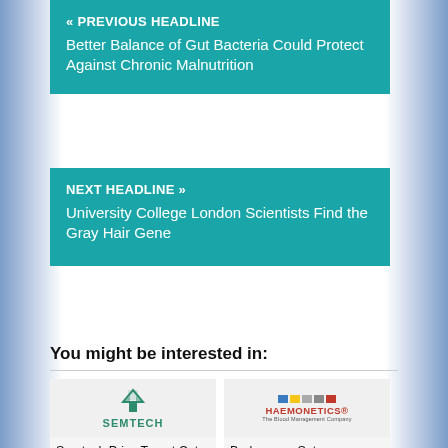« PREVIOUS HEADLINE
Better Balance of Gut Bacteria Could Protect Against Chronic Malnutrition
NEXT HEADLINE »
University College London Scientists Find the Gray Hair Gene
You might be interested in:
[Figure (logo): Semtech company logo]
Semtech Price Target Cut to $60.00
[Figure (logo): Haemonetics company logo]
Brokerages Set Haemonetics Co. PT at $82.80